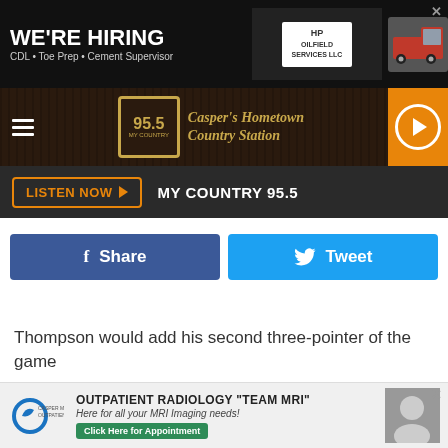[Figure (screenshot): Top advertisement banner: WE'RE HIRING CDL • Toe Prep • Cement Supervisor with HP logo and truck image]
[Figure (screenshot): Navigation bar with hamburger menu, 95.5 My Country radio station logo and name 'Casper's Hometown Country Station', orange play button]
LISTEN NOW ▶  MY COUNTRY 95.5
[Figure (screenshot): Facebook Share button and Twitter Tweet button side by side]
Thompson would add his second three-pointer of the game
[Figure (screenshot): Bottom advertisement: OUTPATIENT RADIOLOGY 'TEAM MRI' Here for all your MRI Imaging needs! Click Here for Appointment]